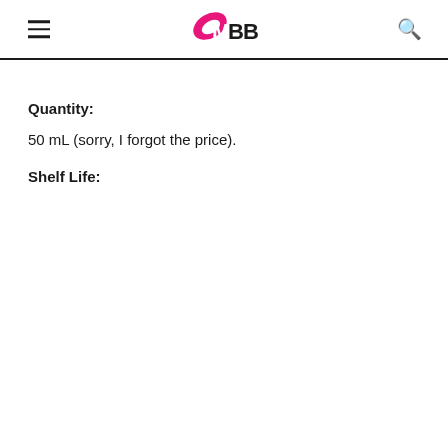IMBB
Quantity:
50 mL (sorry, I forgot the price).
Shelf Life: